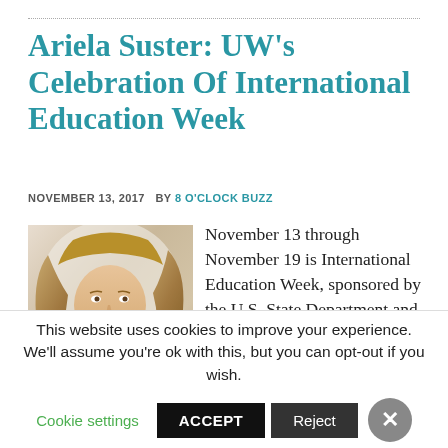Ariela Suster: UW’s Celebration Of International Education Week
NOVEMBER 13, 2017   BY 8 O’CLOCK BUZZ
[Figure (photo): Portrait photo of Ariela Suster, a woman with long blonde wavy hair wearing a white top and dark wrist accessory.]
November 13 through November 19 is International Education Week, sponsored by the U.S. State Department and the U.S. Department of Education.  The University of Wisconsin’s celebration of International Education Week
This website uses cookies to improve your experience. We’ll assume you’re ok with this, but you can opt-out if you wish.
Cookie settings   ACCEPT   Reject